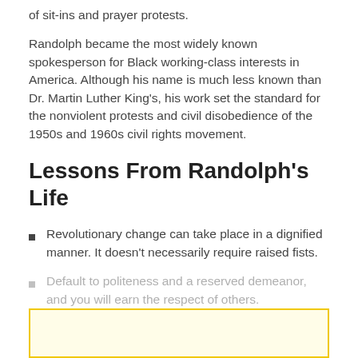of sit-ins and prayer protests.
Randolph became the most widely known spokesperson for Black working-class interests in America. Although his name is much less known than Dr. Martin Luther King’s, his work set the standard for the nonviolent protests and civil disobedience of the 1950s and 1960s civil rights movement.
Lessons From Randolph’s Life
Revolutionary change can take place in a dignified manner. It doesn’t necessarily require raised fists.
Default to politeness and a reserved demeanor, and you will earn the respect of others.